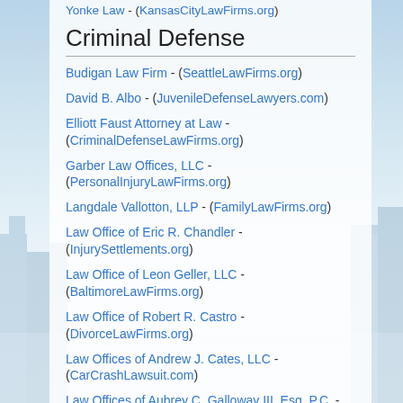Yonke Law - (KansasCityLawFirms.org)
Criminal Defense
Budigan Law Firm - (SeattleLawFirms.org)
David B. Albo - (JuvenileDefenseLawyers.com)
Elliott Faust Attorney at Law - (CriminalDefenseLawFirms.org)
Garber Law Offices, LLC - (PersonalInjuryLawFirms.org)
Langdale Vallotton, LLP - (FamilyLawFirms.org)
Law Office of Eric R. Chandler - (InjurySettlements.org)
Law Office of Leon Geller, LLC - (BaltimoreLawFirms.org)
Law Office of Robert R. Castro - (DivorceLawFirms.org)
Law Offices of Andrew J. Cates, LLC - (CarCrashLawsuit.com)
Law Offices of Aubrey C. Galloway III, Esq. P.C. - (DivorceLawFirms.org)